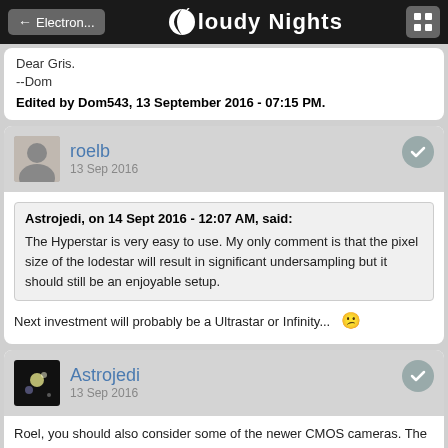Cloudy Nights
Dear Gris.
--Dom
Edited by Dom543, 13 September 2016 - 07:15 PM.
roelb
13 Sep 2016
Astrojedi, on 14 Sept 2016 - 12:07 AM, said:
The Hyperstar is very easy to use. My only comment is that the pixel size of the lodestar will result in significant undersampling but it should still be an enjoyable setup.
Next investment will probably be a Ultrastar or Infinity...
Astrojedi
13 Sep 2016
Roel, you should also consider some of the newer CMOS cameras. The smaller pixels are a good match for the C6 Hyperstar. In fact DSLRs are also a very good match but the obstruction will be too